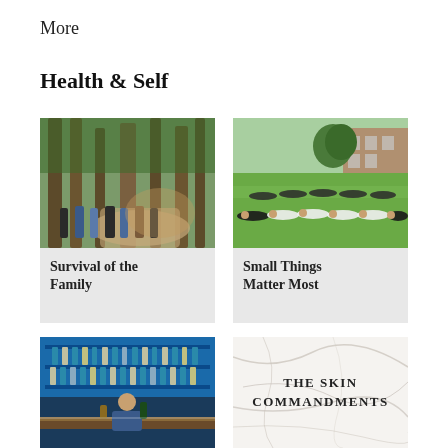More
Health & Self
[Figure (photo): Group of people hiking in a forest with tall redwood trees and dusty trail]
Survival of the Family
[Figure (photo): People lying on green grass in a field next to a brick building]
Small Things Matter Most
[Figure (photo): Man standing behind a bar counter with bottles and blue lit shelving]
[Figure (illustration): White marble texture background with bold text reading THE SKIN COMMANDMENTS]